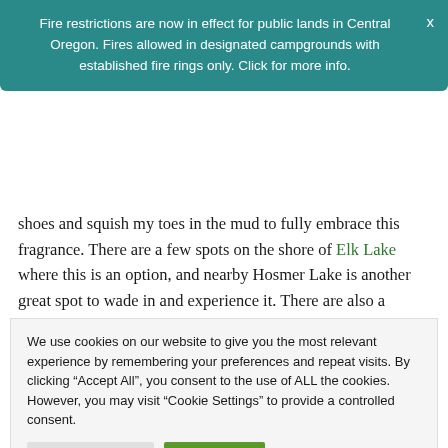Fire restrictions are now in effect for public lands in Central Oregon. Fires allowed in designated campgrounds with established fire rings only. Click for more info.
shoes and squish my toes in the mud to fully embrace this fragrance. There are a few spots on the shore of Elk Lake where this is an option, and nearby Hosmer Lake is another great spot to wade in and experience it. There are also a number of spots along the Deschutes River with deliciously muddy banks, so take off your shoes and start sniffing.
We use cookies on our website to give you the most relevant experience by remembering your preferences and repeat visits. By clicking “Accept All”, you consent to the use of ALL the cookies. However, you may visit “Cookie Settings” to provide a controlled consent.